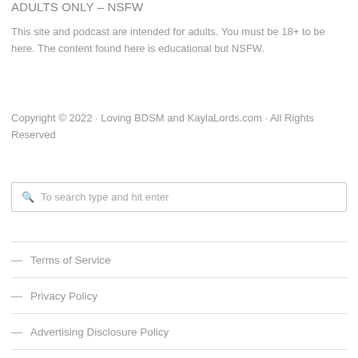ADULTS ONLY – NSFW
This site and podcast are intended for adults. You must be 18+ to be here. The content found here is educational but NSFW.
Copyright © 2022 · Loving BDSM and KaylaLords.com · All Rights Reserved
To search type and hit enter
— Terms of Service
— Privacy Policy
— Advertising Disclosure Policy